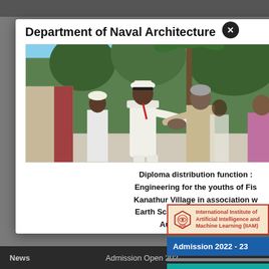Department of Naval Architecture
[Figure (photo): Outdoor photo showing a naval officer in white uniform shaking hands with a civilian, with other people and trees in the background]
Diploma distribution function : Engineering for the youths of Fishermen Kanathur Village in association with Ministry of Earth Sciences, Govt. of India held at NIOT Auditorium on 19 N
[Figure (logo): International Institute of Artificial Intelligence and Machine Learning (IIAM) logo with red hexagonal emblem]
Admission 2022 - 23
V-Ships - Admission & Recruitment Drive
News    Admission Open 202